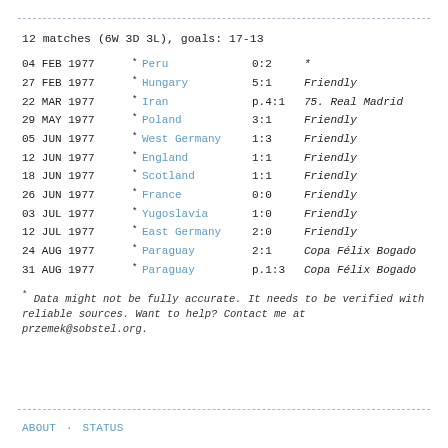12 matches (6W 3D 3L), goals: 17-13
| Date | * | Opponent | Score | Competition |
| --- | --- | --- | --- | --- |
| 04 FEB 1977 | * | Peru | 0:2 | * |
| 27 FEB 1977 | * | Hungary | 5:1 | Friendly |
| 22 MAR 1977 | * | Iran | p.4:1 | 75. Real Madrid |
| 29 MAY 1977 | * | Poland | 3:1 | Friendly |
| 05 JUN 1977 | * | West Germany | 1:3 | Friendly |
| 12 JUN 1977 | * | England | 1:1 | Friendly |
| 18 JUN 1977 | * | Scotland | 1:1 | Friendly |
| 26 JUN 1977 | * | France | 0:0 | Friendly |
| 03 JUL 1977 | * | Yugoslavia | 1:0 | Friendly |
| 12 JUL 1977 | * | East Germany | 2:0 | Friendly |
| 24 AUG 1977 | * | Paraguay | 2:1 | Copa Félix Bogado |
| 31 AUG 1977 | * | Paraguay | p.1:3 | Copa Félix Bogado |
* Data might not be fully accurate. It needs to be verified with reliable sources. Want to help? Contact me at przemek@sobstel.org.
ABOUT · STATUS